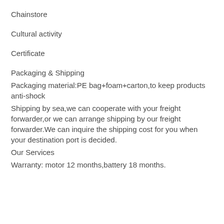Chainstore
Cultural activity
Certificate
Packaging & Shipping
Packaging material:PE bag+foam+carton,to keep products anti-shock
Shipping by sea,we can cooperate with your freight forwarder,or we can arrange shipping by our freight forwarder.We can inquire the shipping cost for you when your destination port is decided.
Our Services
Warranty: motor 12 months,battery 18 months.